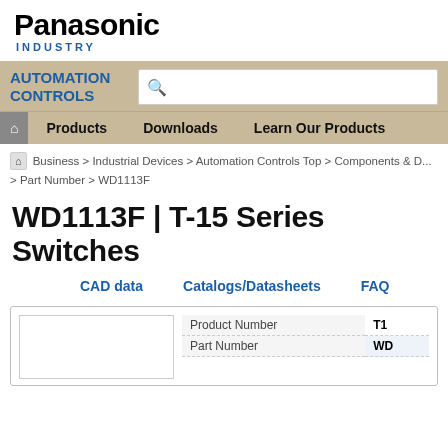[Figure (logo): Panasonic Industry logo with bold black Panasonic text and blue INDUSTRY subtitle]
AUTOMATION CONTROLS — navigation bar with search box, Products, Downloads, Learn Our Products
Business > Industrial Devices > Automation Controls Top > Components & D... > Part Number > WD1113F
WD1113F | T-15 Series Switches
CAD data    Catalogs/Datasheets    FAQ
| Product Number | T1... |
| --- | --- |
| Part Number | WD... |